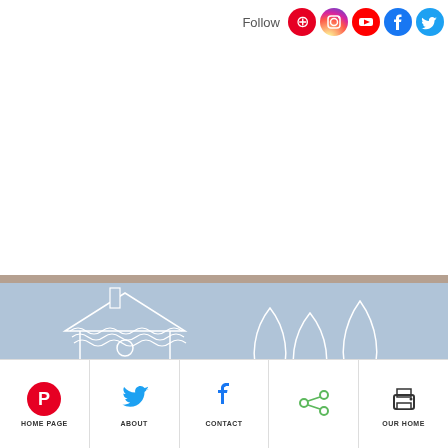Follow
[Figure (illustration): Farm scene illustration with a barn, trees, a dog, and chickens on a light blue background with rolling hills and white line art]
HOME PAGE  ABOUT  CONTACT  OUR HOME